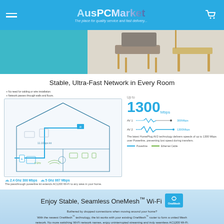AusPCMarket — The place for quality service and fast delivery...
[Figure (photo): Hero image showing a living room scene with teal/cyan background on left and a chair on white background on right]
Stable, Ultra-Fast Network in Every Room
[Figure (schematic): House cross-section diagram showing powerline network passing through walls and floors with 2.4 GHz 300 Mbps and 5 GHz 867 Mbps Wi-Fi. Notes: No need for cabling or wire installation. Network passes through walls and floors.]
2.4 Ghz 300 Mbps   5 Ghz 867 Mbps
The passthrough powerline kit extends AC1200 Wi-Fi to any area in your home.
Up to 1300 Mbps. AV1 300Mbps. AV2 1300Mbps. The latest HomePlug AV2 technology delivers speeds of up to 1300 Mbps over Powerline, preventing lost speed during transfers. Powerline — Ethernet Cable
Enjoy Stable, Seamless OneMesh™ Wi-Fi
Bothered by dropped connections when moving around your home? With the newest OneMesh™ technology, the kit works with your existing OneMesh™ router to form a united Mesh network. No more switching Wi-Fi network names, enjoy uninterrupted streaming and truly seamless AC1200 Wi-Fi.